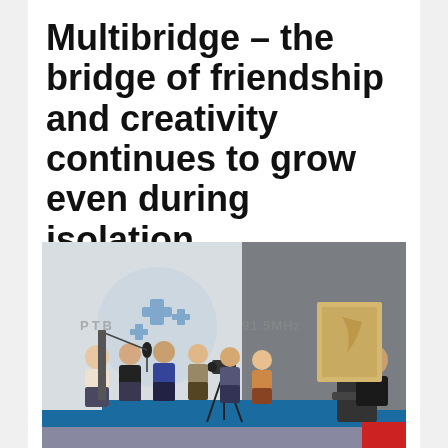Multibridge – the bridge of friendship and creativity continues to grow even during isolation
OCT 30, 2020
[Figure (photo): Group of young girls standing in a radio or TV studio in front of a camera on a tripod, with PTB logo and 91.5MHz text visible on the wall behind them. A person is seated on the right side.]